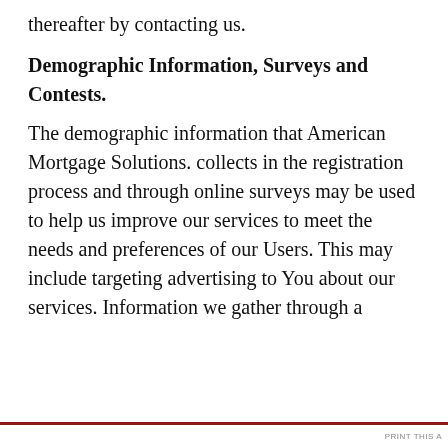thereafter by contacting us.
Demographic Information, Surveys and Contests.
The demographic information that American Mortgage Solutions. collects in the registration process and through online surveys may be used to help us improve our services to meet the needs and preferences of our Users. This may include targeting advertising to You about our services. Information we gather through a
Privacy & Cookies: This site uses cookies. By continuing to use this website, you agree to their use.
To find out more, including how to control cookies, see here:
Cookie Policy
Close and accept